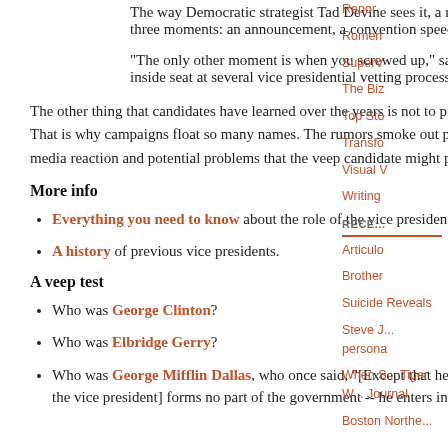The way Democratic strategist Tad Devine sees it, a running mate should have three moments: an announcement, a convention speech and a debate.
"The only other moment is when you screwed up," says Devine, who's had an inside seat at several vice presidential vetting processes and announcements.
The other thing that candidates have learned over the years is not to pick a surprise running mate. That is why campaigns float so many names. The rumors smoke out public and more importantly media reaction and potential problems that the veep candidate might pose.
More info
Everything you need to know about the role of the vice president.
A history of previous vice presidents.
A veep test
Who was George Clinton?
Who was Elbridge Gerry?
Who was George Mifflin Dallas, who once said, "[Except that he is president of the Senate, the vice president] forms no part of the government -- he enters into no
Repor
Romen
SuperV
The Biz
Top Sto
Transfo
Visual V
Writing
RECE...
Articulo
Brother
Suicide Reveals
Steve J... persona
When S... Tiger W... Journal
Boston Northe...